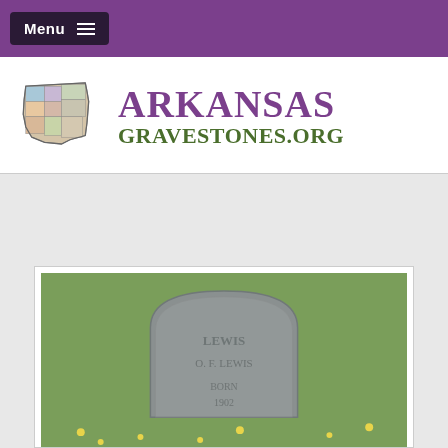Menu
[Figure (logo): Arkansas Gravestones.org logo with Arkansas state map in color and text 'Arkansas Gravestones.org']
[Figure (photo): Gravestone photograph showing a weathered gray headstone with inscriptions, set against a green grassy background with small yellow flowers]